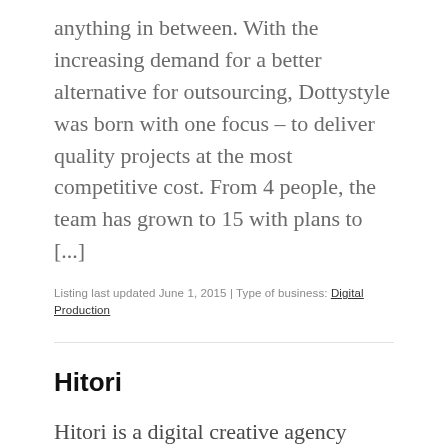anything in between. With the increasing demand for a better alternative for outsourcing, Dottystyle was born with one focus – to deliver quality projects at the most competitive cost. From 4 people, the team has grown to 15 with plans to [...]
Listing last updated June 1, 2015 | Type of business: Digital Production
Hitori
Hitori is a digital creative agency based in South Melbourne, Australia. We focus on enterprise mobility, web applications, e-commerce & digital strategy/creative with a mission to help our clients improve business productivity and stand out in a